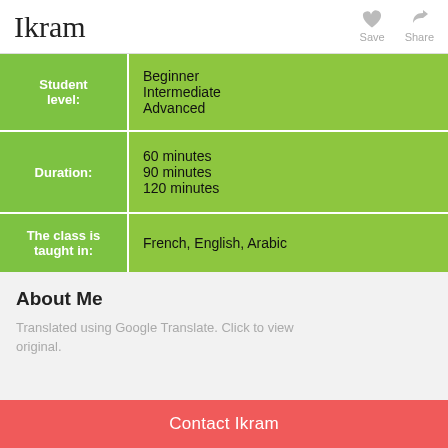Ikram
| Label | Value |
| --- | --- |
| Student level: | Beginner
Intermediate
Advanced |
| Duration: | 60 minutes
90 minutes
120 minutes |
| The class is taught in: | French, English, Arabic |
About Me
Translated using Google Translate. Click to view original.
Contact Ikram